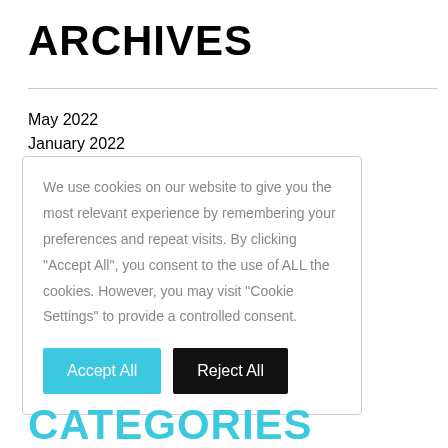ARCHIVES
May 2022
January 2022
We use cookies on our website to give you the most relevant experience by remembering your preferences and repeat visits. By clicking “Accept All”, you consent to the use of ALL the cookies. However, you may visit “Cookie Settings” to provide a controlled consent.
CATEGORIES